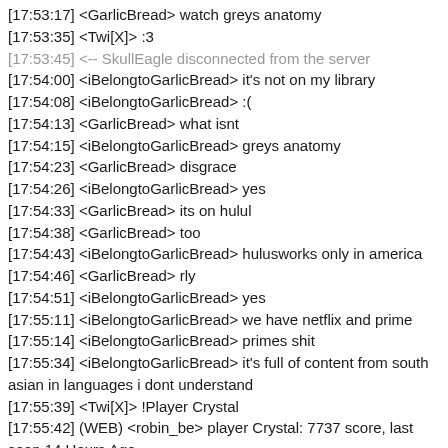[17:53:17] <GarlicBread> watch greys anatomy
[17:53:35] <Twi[X]> :3
[17:53:45] <-- SkullEagle disconnected from the server
[17:54:00] <iBelongtoGarlicBread> it's not on my library
[17:54:08] <iBelongtoGarlicBread> :(
[17:54:13] <GarlicBread> what isnt
[17:54:15] <iBelongtoGarlicBread> greys anatomy
[17:54:23] <GarlicBread> disgrace
[17:54:26] <iBelongtoGarlicBread> yes
[17:54:33] <GarlicBread> its on hulul
[17:54:38] <GarlicBread> too
[17:54:43] <iBelongtoGarlicBread> hulusworks only in america
[17:54:46] <GarlicBread> rly
[17:54:51] <iBelongtoGarlicBread> yes
[17:55:11] <iBelongtoGarlicBread> we have netflix and prime
[17:55:14] <iBelongtoGarlicBread> primes shit
[17:55:34] <iBelongtoGarlicBread> it's full of content from south asian in languages i dont understand
[17:55:39] <Twi[X]> !Player Crystal
[17:55:42] (WEB) <robin_be> player Crystal: 7737 score, last seen 14 Hours Ago
[17:55:45] <Twi[X]> isn't like vip shit automatic now?
[17:55:50] <GarlicBread> no
[17:55:55] <iBelongtoGarlicBread> no
[17:55:57] <iBelongtoGarlicBread> vs